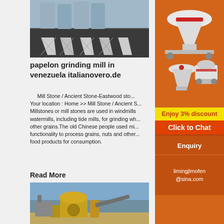[Figure (photo): Industrial building with large metal silos or hoppers in a row, exterior view]
papelon grinding mill in venezuela italianovero.de
Mill Stone / Ancient Stone-Eastwood sto... Your location : Home >> Mill Stone / Ancient S... Millstones or mill stones are used in windmills watermills, including tide mills, for grinding wh... other grains.The old Chinese people used mi... functionality to process grains, nuts and other... food products for consumption.
Read More
[Figure (photo): Industrial grinding/milling machinery in an outdoor or factory setting]
[Figure (photo): Sidebar advertisement showing industrial crushing/grinding machinery on orange background with discount offer and chat button]
Enjoy 3% discount
Click to Chat
Enquiry
limingjlmofen@sina.com